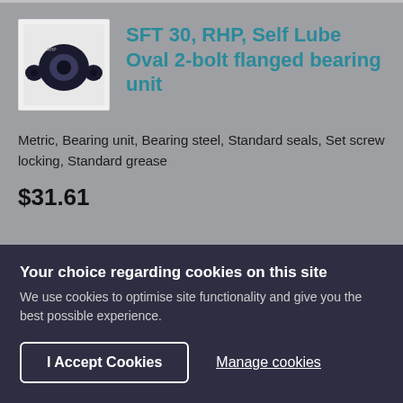[Figure (photo): Photo of SFT 30 RHP Self Lube Oval 2-bolt flanged bearing unit, dark navy/black component on white background]
SFT 30, RHP, Self Lube Oval 2-bolt flanged bearing unit
Metric, Bearing unit, Bearing steel, Standard seals, Set screw locking, Standard grease
$31.61
Your choice regarding cookies on this site
We use cookies to optimise site functionality and give you the best possible experience.
I Accept Cookies
Manage cookies